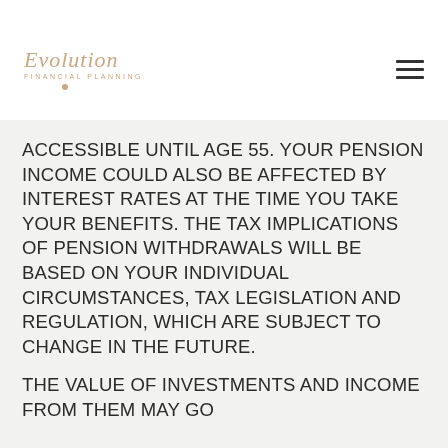Evolution Financial Planning
ACCESSIBLE UNTIL AGE 55. YOUR PENSION INCOME COULD ALSO BE AFFECTED BY INTEREST RATES AT THE TIME YOU TAKE YOUR BENEFITS. THE TAX IMPLICATIONS OF PENSION WITHDRAWALS WILL BE BASED ON YOUR INDIVIDUAL CIRCUMSTANCES, TAX LEGISLATION AND REGULATION, WHICH ARE SUBJECT TO CHANGE IN THE FUTURE.
THE VALUE OF INVESTMENTS AND INCOME FROM THEM MAY GO